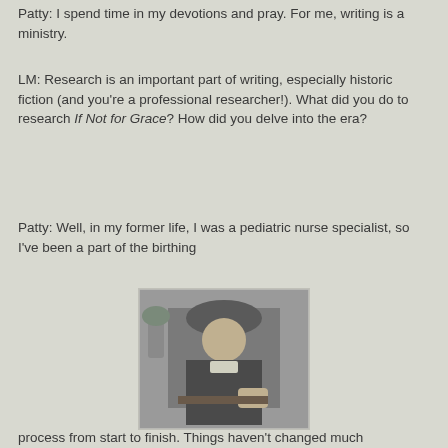Patty: I spend time in my devotions and pray. For me, writing is a ministry.
LM: Research is an important part of writing, especially historic fiction (and you’re a professional researcher!). What did you do to research If Not for Grace? How did you delve into the era?
Patty: Well, in my former life, I was a pediatric nurse specialist, so I’ve been a part of the birthing
[Figure (photo): Black and white portrait photograph of a woman seated at a desk, wearing a hat and dark clothing, early 20th century style.]
process from start to finish. Things haven’t changed much